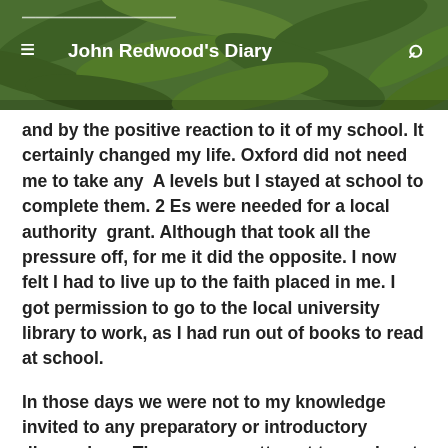John Redwood's Diary
and by the positive reaction to it of my school. It certainly changed my life. Oxford did not need  me to take any  A levels but I stayed at school to complete them. 2 Es were needed for a local authority  grant. Although that took all the pressure off, for me it did the opposite. I now felt I had to live up to the faith placed in me. I got permission to go to the local university library to work, as I had run out of books to read at school.
In those days we were not to my knowledge invited to any preparatory or introductory discussions. There was no attempt to reach out when you arrived for interview. The Oxford I went to was full of ex public school boys who were better prepared. They were more used to the College